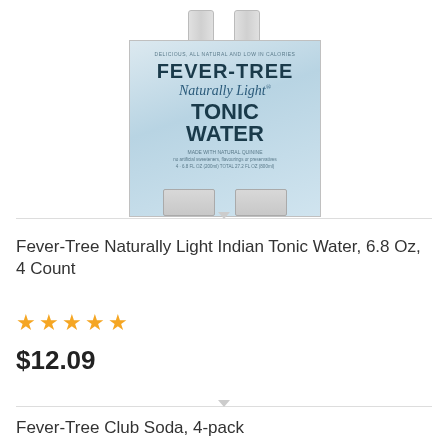[Figure (photo): Fever-Tree Naturally Light Tonic Water 4-pack product image showing bottles in cardboard packaging with blue diamond pattern]
Fever-Tree Naturally Light Indian Tonic Water, 6.8 Oz, 4 Count
★★★★★
$12.09
Fever-Tree Club Soda, 4-pack